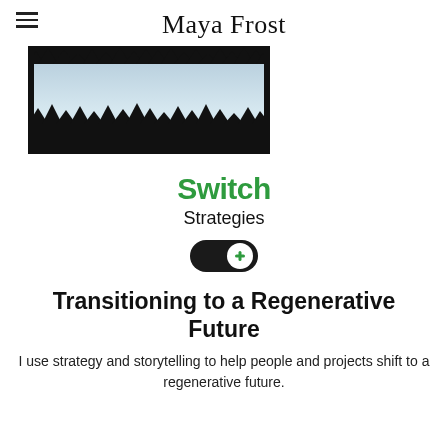Maya Frost
[Figure (photo): Forest silhouette with misty sky, dark trees against a pale blue-white background, partially cropped at the top.]
[Figure (logo): Switch Strategies logo with a toggle switch icon containing a green plus sign.]
Transitioning to a Regenerative Future
I use strategy and storytelling to help people and projects shift to a regenerative future.